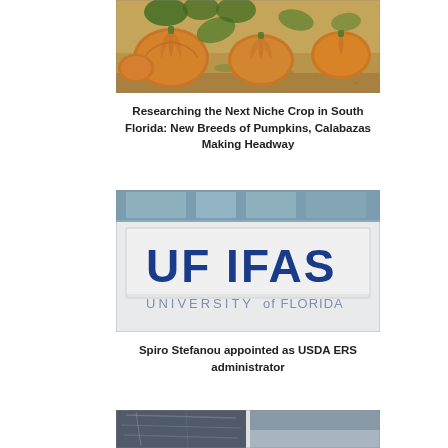[Figure (photo): Pumpkins and calabazas on sandy ground]
Researching the Next Niche Crop in South Florida: New Breeds of Pumpkins, Calabazas Making Headway
[Figure (photo): UF IFAS University of Florida sign on a building]
Spiro Stefanou appointed as USDA ERS administrator
[Figure (photo): Partial bottom image cut off at page edge]